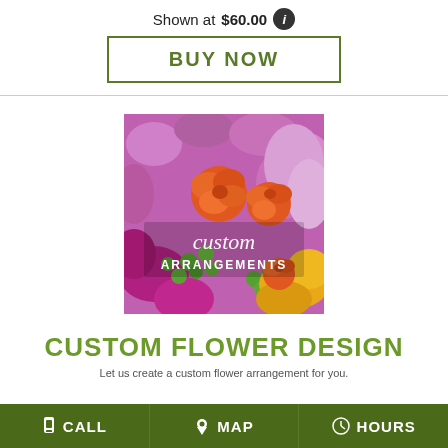Shown at $60.00
BUY NOW
[Figure (photo): Custom floral arrangements image showing orange roses, purple flowers, green berries, and yellow lilies with text overlay reading 'custom ARRANGEMENTS']
CUSTOM FLOWER DESIGN
Let us create a custom flower arrangement for you.
CALL   MAP   HOURS